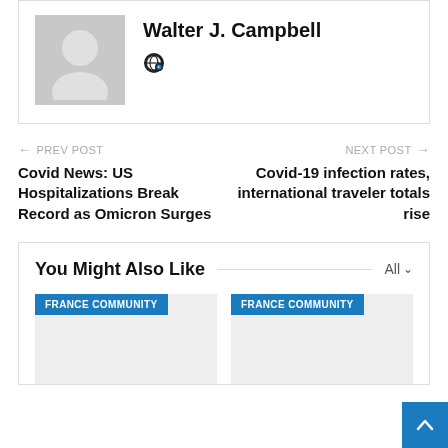[Figure (photo): Author avatar placeholder silhouette on grey background]
Walter J. Campbell
[Figure (other): Globe/website icon]
← PREV POST
Covid News: US Hospitalizations Break Record as Omicron Surges
NEXT POST →
Covid-19 infection rates, international traveler totals rise
You Might Also Like
All ∨
[Figure (other): FRANCE COMMUNITY card image placeholder]
[Figure (other): FRANCE COMMUNITY card image placeholder]